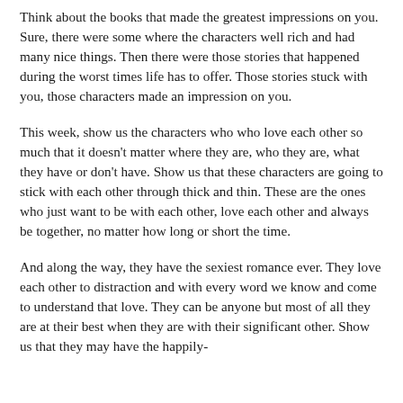Think about the books that made the greatest impressions on you. Sure, there were some where the characters well rich and had many nice things. Then there were those stories that happened during the worst times life has to offer. Those stories stuck with you, those characters made an impression on you.
This week, show us the characters who who love each other so much that it doesn't matter where they are, who they are, what they have or don't have. Show us that these characters are going to stick with each other through thick and thin. These are the ones who just want to be with each other, love each other and always be together, no matter how long or short the time.
And along the way, they have the sexiest romance ever. They love each other to distraction and with every word we know and come to understand that love. They can be anyone but most of all they are at their best when they are with their significant other. Show us that they may have the happily-